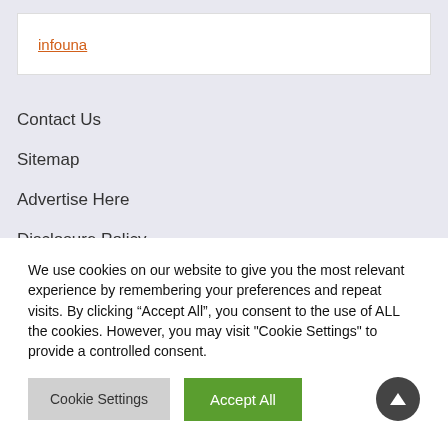infouna
Contact Us
Sitemap
Advertise Here
Disclosure Policy
Recent Posts
Pc Software Technology Diploma Bs
We use cookies on our website to give you the most relevant experience by remembering your preferences and repeat visits. By clicking “Accept All”, you consent to the use of ALL the cookies. However, you may visit "Cookie Settings" to provide a controlled consent.